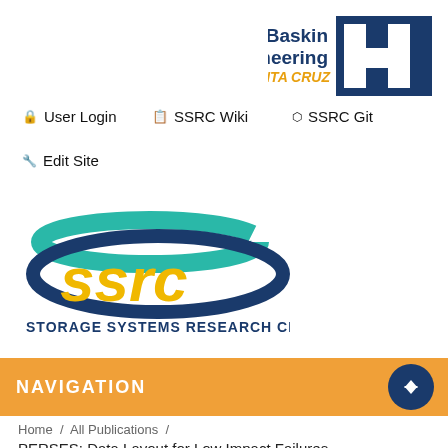[Figure (logo): Baskin Engineering UC Santa Cruz logo with blue and white H-shaped graphic]
🔒 User Login
📋 SSRC Wiki
⬡ SSRC Git
🔧 Edit Site
[Figure (logo): SSRC Storage Systems Research Center logo with teal and blue swoosh and yellow/gold text]
NAVIGATION
Home / All Publications /
PERSES: Data Layout for Low Impact Failures